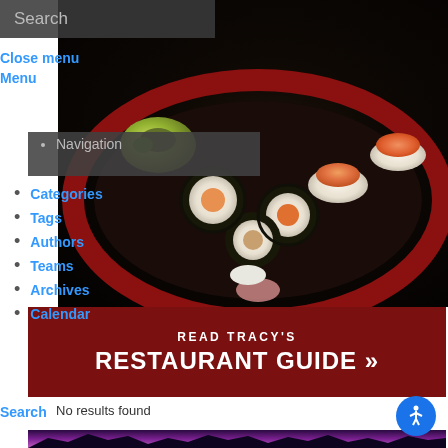Search
Close menu
Menu
[Figure (photo): Overhead view of a sushi platter with rolls, nigiri, and garnishes in a red lacquer bowl on a dark background]
Navigation
Categories
Tags
Authors
Teams
Archives
Calendar
[Figure (infographic): Dark red banner reading READ TRACY'S RESTAURANT GUIDE >>]
Search
No results found
[Figure (photo): Silhouette of tropical trees against a vivid purple and orange sunset sky]